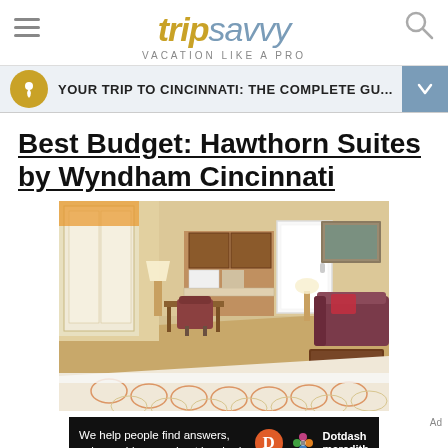tripsavvy VACATION LIKE A PRO
YOUR TRIP TO CINCINNATI: THE COMPLETE GU...
Best Budget: Hawthorn Suites by Wyndham Cincinnati
[Figure (photo): Interior photo of a hotel room at Hawthorn Suites by Wyndham Cincinnati, showing a bedroom with a patterned bedspread, kitchenette, desk, chair, sofa, lamp, and artwork on the wall.]
We help people find answers, solve problems and get inspired. Dotdash meredith